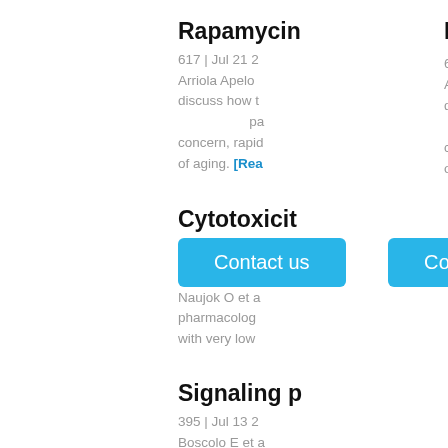Rapamycin
617 | Jul 21 2
Arriola Apelo
discuss how t
pa
concern, rapid
of aging. [Rea
[Figure (other): Blue 'Contact us' button overlay]
Cytotoxicit
GSK3 inhib
0 | Jul 18 201
Naujok O et a
pharmacolog
with very low
Signaling p
395 | Jul 13 2
Boscolo E et a
promising the